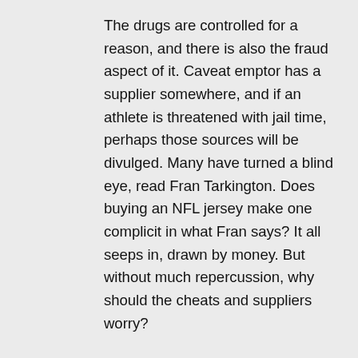The drugs are controlled for a reason, and there is also the fraud aspect of it. Caveat emptor has a supplier somewhere, and if an athlete is threatened with jail time, perhaps those sources will be divulged. Many have turned a blind eye, read Fran Tarkington. Does buying an NFL jersey make one complicit in what Fran says? It all seeps in, drawn by money. But without much repercussion, why should the cheats and suppliers worry?